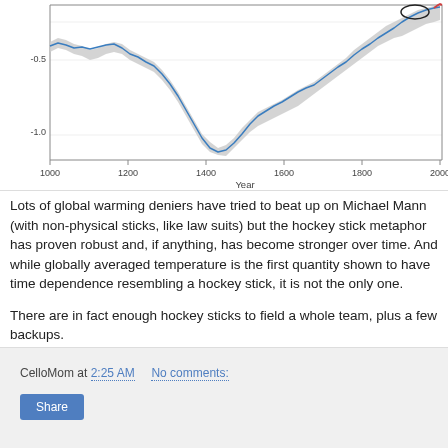[Figure (continuous-plot): Hockey stick climate chart showing Northern Hemisphere temperature anomaly vs Year from 1000 to 2000. Gray shaded uncertainty band, blue line showing reconstructed temperatures dipping around 1400-1600 (Little Ice Age), with sharp uptick near 2000. Y-axis shows values around -0.5 and -1.0. X-axis labeled 'Year' with ticks at 1000, 1200, 1400, 1600, 1800, 2000.]
Lots of global warming deniers have tried to beat up on Michael Mann (with non-physical sticks, like law suits) but the hockey stick metaphor has proven robust and, if anything, has become stronger over time. And while globally averaged temperature is the first quantity shown to have time dependence resembling a hockey stick, it is not the only one.
There are in fact enough hockey sticks to field a whole team, plus a few backups.
CelloMom at 2:25 AM    No comments: